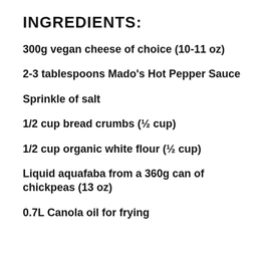INGREDIENTS:
300g vegan cheese of choice (10-11 oz)
2-3 tablespoons Mado's Hot Pepper Sauce
Sprinkle of salt
1/2 cup bread crumbs (½ cup)
1/2 cup organic white flour (½ cup)
Liquid aquafaba from a 360g can of chickpeas (13 oz)
0.7L Canola oil for frying